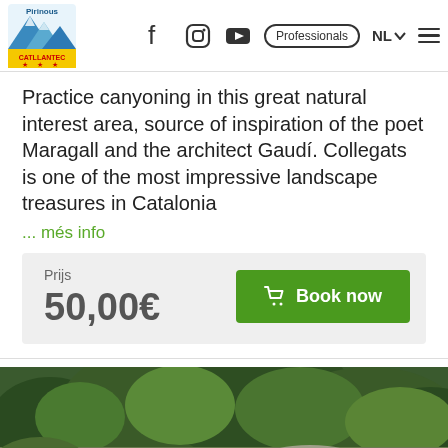Pirinous / Catllantec — Professionals NL
Practice canyoning in this great natural interest area, source of inspiration of the poet Maragall and the architect Gaudí. Collegats is one of the most impressive landscape treasures in Catalonia
... més info
| Prijs | Action |
| --- | --- |
| 50,00€ | Book now |
[Figure (photo): A natural rocky canyon landscape with large boulders, dense green trees and scrubland, and mountains in the background — a canyoning location in Collegats, Catalonia.]